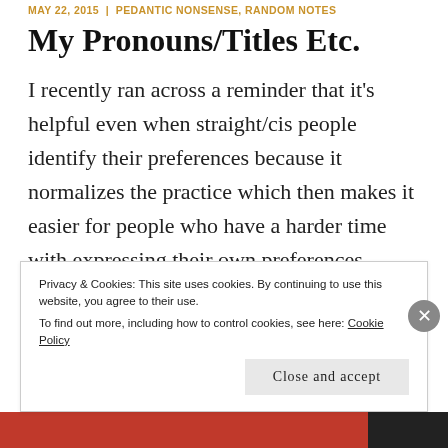MAY 22, 2015  |  PEDANTIC NONSENSE, RANDOM NOTES
My Pronouns/Titles Etc.
I recently ran across a reminder that it's helpful even when straight/cis people identify their preferences because it normalizes the practice which then makes it easier for people who have a harder time with expressing their own preferences.  Then it occurred to me that
Privacy & Cookies: This site uses cookies. By continuing to use this website, you agree to their use.
To find out more, including how to control cookies, see here: Cookie Policy
Close and accept